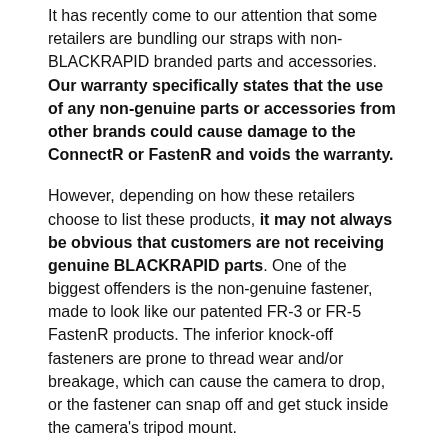It has recently come to our attention that some retailers are bundling our straps with non-BLACKRAPID branded parts and accessories. Our warranty specifically states that the use of any non-genuine parts or accessories from other brands could cause damage to the ConnectR or FastenR and voids the warranty.
However, depending on how these retailers choose to list these products, it may not always be obvious that customers are not receiving genuine BLACKRAPID parts. One of the biggest offenders is the non-genuine fastener, made to look like our patented FR-3 or FR-5 FastenR products. The inferior knock-off fasteners are prone to thread wear and/or breakage, which can cause the camera to drop, or the fastener can snap off and get stuck inside the camera's tripod mount.
Take a Sec, Learn a Spec